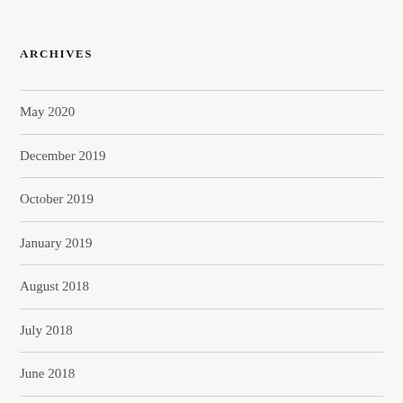ARCHIVES
May 2020
December 2019
October 2019
January 2019
August 2018
July 2018
June 2018